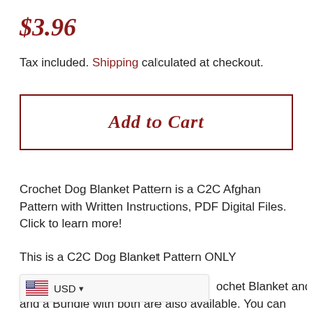$3.96
Tax included. Shipping calculated at checkout.
Add to Cart
Crochet Dog Blanket Pattern is a C2C Afghan Pattern with Written Instructions, PDF Digital Files. Click to learn more!
This is a C2C Dog Blanket Pattern ONLY
USD  ochet Blanket and Pillow Pattern ONLY, and a Bundle with both are also available. You can use